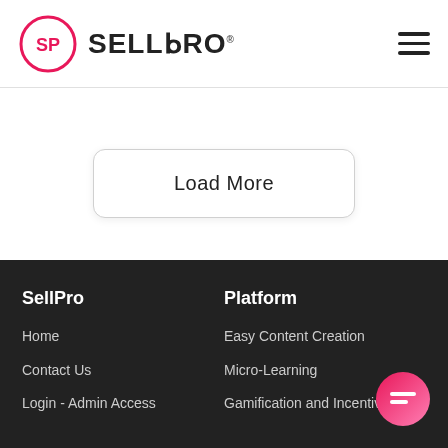[Figure (logo): SellPro logo with pink circle SP icon and SELLPRO text, hamburger menu icon on the right]
Load More
SellPro | Home | Contact Us | Login - Admin Access | Platform | Easy Content Creation | Micro-Learning | Gamification and Incentives